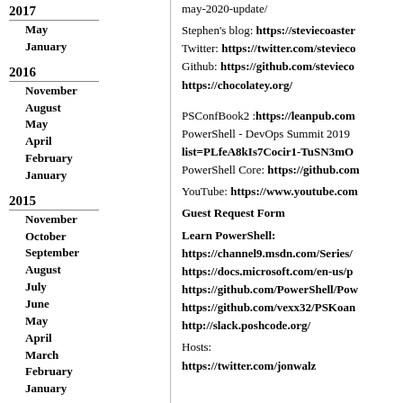2017
May
January
2016
November
August
May
April
February
January
2015
November
October
September
August
July
June
May
April
March
February
January
2014
December
November
October
September
August
may-2020-update/
Stephen's blog: https://steviecoaster... Twitter: https://twitter.com/stevieco... Github: https://github.com/stevieco... https://chocolatey.org/
PSConfBook2 :https://leanpub.com... PowerShell - DevOps Summit 2019 list=PLfeA8kIs7Cocir1-TuSN3mO... PowerShell Core: https://github.com...
YouTube: https://www.youtube.com...
Guest Request Form
Learn PowerShell: https://channel9.msdn.com/Series/... https://docs.microsoft.com/en-us/p... https://github.com/PowerShell/Pow... https://github.com/vexx32/PSKoan... http://slack.poshcode.org/
Hosts: https://twitter.com/jonwalz